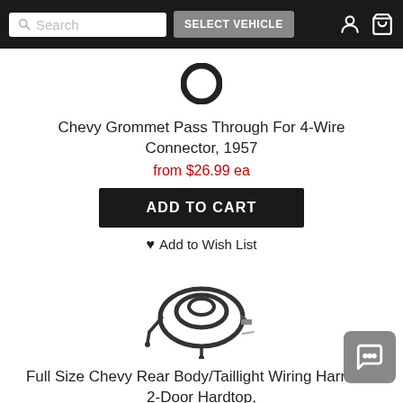Search | SELECT VEHICLE
[Figure (photo): Grommet ring pass-through, top-down view of a black rubber ring]
Chevy Grommet Pass Through For 4-Wire Connector, 1957
from $26.99 ea
ADD TO CART
Add to Wish List
[Figure (photo): Coiled black wiring harness with connectors]
Full Size Chevy Rear Body/Taillight Wiring Harness, 2-Door Hardtop,